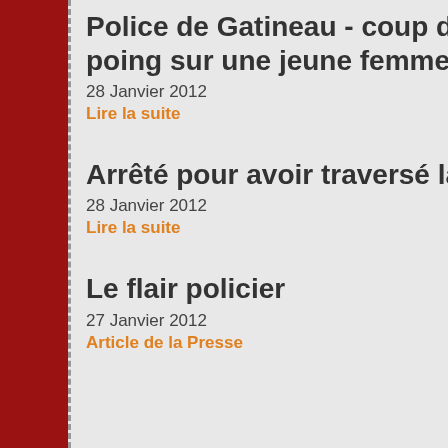Police de Gatineau - coup de poing sur une jeune femme
28 Janvier 2012
Lire la suite
Arrêté pour avoir traversé la rue
28 Janvier 2012
Lire la suite
Le flair policier
27 Janvier 2012
Article de la Presse